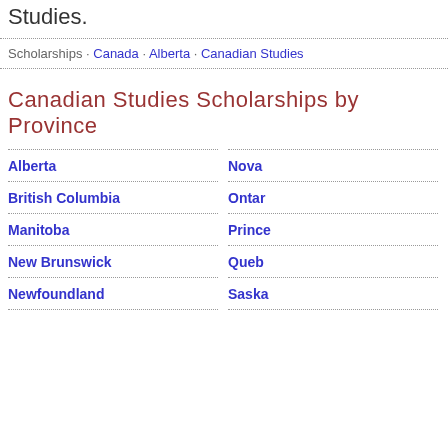Studies.
Scholarships · Canada · Alberta · Canadian Studies
Canadian Studies Scholarships by Province
Alberta
British Columbia
Manitoba
New Brunswick
Newfoundland
Nova
Ontar
Prince
Queb
Saska